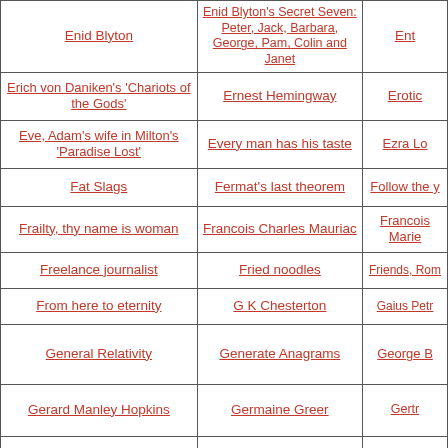| Col1 | Col2 | Col3 |
| --- | --- | --- |
| Enid Blyton | Enid Blyton's Secret Seven: Peter, Jack, Barbara, George, Pam, Colin and Janet | Ent… |
| Erich von Daniken's 'Chariots of the Gods' | Ernest Hemingway | Erotic… |
| Eve, Adam's wife in Milton's 'Paradise Lost' | Every man has his taste | Ezra Lo… |
| Fat Slags | Fermat's last theorem | Follow the y… |
| Frailty, thy name is woman | Francois Charles Mauriac | Francois Marie… |
| Freelance journalist | Fried noodles | Friends, Rom… |
| From here to eternity | G K Chesterton | Gaius Petr… |
| General Relativity | Generate Anagrams | George B… |
| Gerard Manley Hopkins | Germaine Greer | Gertr… |
| Gitta Sereny and Mary Bell | Gloria Steinem | Goldilocks an… |
|  |  | Great Expec… |